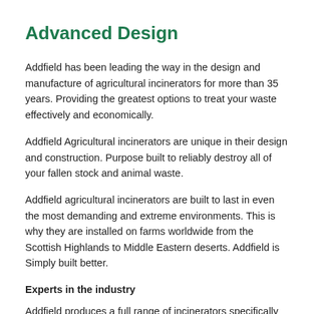Advanced Design
Addfield has been leading the way in the design and manufacture of agricultural incinerators for more than 35 years. Providing the greatest options to treat your waste effectively and economically.
Addfield Agricultural incinerators are unique in their design and construction. Purpose built to reliably destroy all of your fallen stock and animal waste.
Addfield agricultural incinerators are built to last in even the most demanding and extreme environments. This is why they are installed on farms worldwide from the Scottish Highlands to Middle Eastern deserts. Addfield is Simply built better.
Experts in the industry
Addfield produces a full range of incinerators specifically designed to provide maximum results when destroying your fallen livestock.